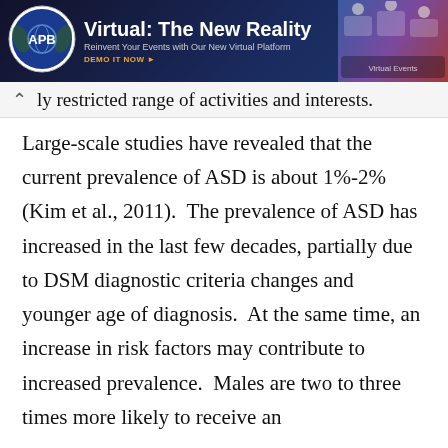[Figure (screenshot): APB Speakers advertisement banner: 'Virtual: The New Reality – Reinvent Your Events with Our New Virtual Platform. DEMO IT NOW.']
ly restricted range of activities and interests.
Large-scale studies have revealed that the current prevalence of ASD is about 1%-2% (Kim et al., 2011). The prevalence of ASD has increased in the last few decades, partially due to DSM diagnostic criteria changes and younger age of diagnosis. At the same time, an increase in risk factors may contribute to increased prevalence. Males are two to three times more likely to receive an